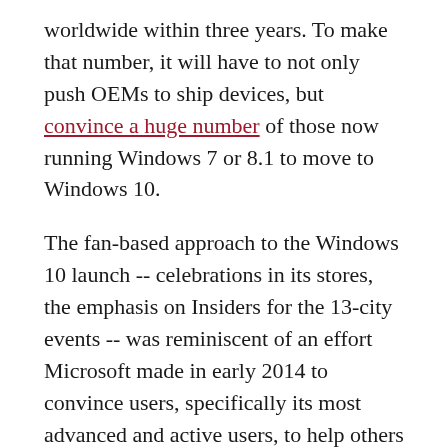worldwide within three years. To make that number, it will have to not only push OEMs to ship devices, but convince a huge number of those now running Windows 7 or 8.1 to move to Windows 10.
The fan-based approach to the Windows 10 launch -- celebrations in its stores, the emphasis on Insiders for the 13-city events -- was reminiscent of an effort Microsoft made in early 2014 to convince users, specifically its most advanced and active users, to help others upgrade from Windows XP to Windows 8.1. The initiative was hooted down by those who said that that was Microsoft's job, not theirs.